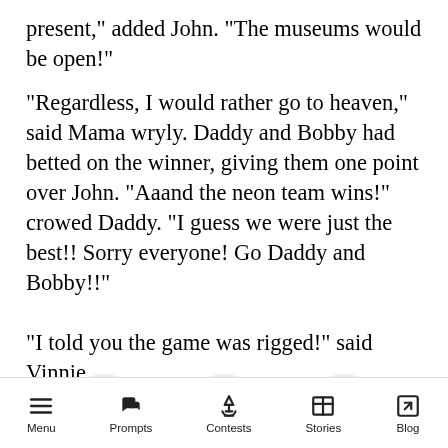present,” added John. “The museums would be open!”
“Regardless, I would rather go to heaven,” said Mama wryly. Daddy and Bobby had betted on the winner, giving them one point over John. “Aaand the neon team wins!” crowed Daddy. “I guess we were just the best!! Sorry everyone! Go Daddy and Bobby!!”
“I told you the game was rigged!” said Vinnie.
[Figure (logo): Twitter bird icon in blue circle on light gray background]
[Figure (logo): Facebook f icon in dark blue circle on light gray background]
[Figure (logo): Pinterest P icon in red circle on light gray background]
Menu  Prompts  Contests  Stories  Blog